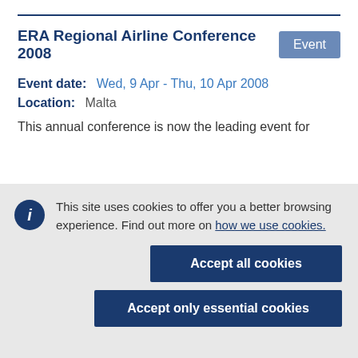ERA Regional Airline Conference 2008
Event date: Wed, 9 Apr - Thu, 10 Apr 2008
Location: Malta
This annual conference is now the leading event for
This site uses cookies to offer you a better browsing experience. Find out more on how we use cookies.
Accept all cookies
Accept only essential cookies